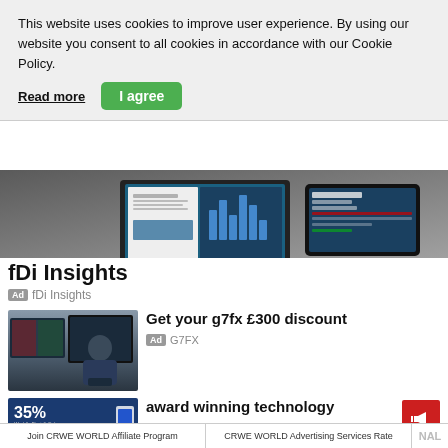This website uses cookies to improve user experience. By using our website you consent to all cookies in accordance with our Cookie Policy.
Read more
I agree
[Figure (screenshot): fDi Insights product screenshot showing laptop and tablet displaying financial reports and charts]
fDi Insights
Ad  fDi Insights
[Figure (photo): Man sitting at desk with multiple monitors showing trading charts]
Get your g7fx £300 discount
Ad  G7FX
[Figure (infographic): Blue background infographic showing 35% with text about World's First & Only Programmable Energy Saving For Air Conditioners]
award winning technology
Join CRWE WORLD Affiliate Program   |   CRWE WORLD Advertising Services Rate   |   NAL